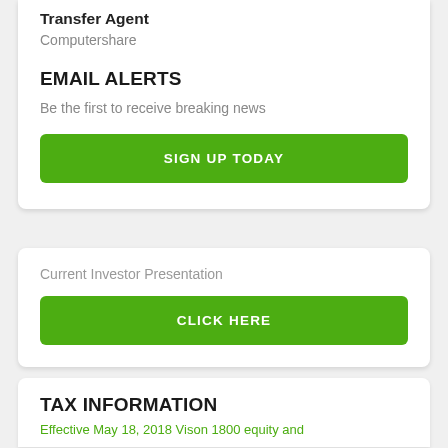Transfer Agent
Computershare
EMAIL ALERTS
Be the first to receive breaking news
SIGN UP TODAY
Current Investor Presentation
CLICK HERE
TAX INFORMATION
Effective May 18, 2018 Vinson 1800 equity and